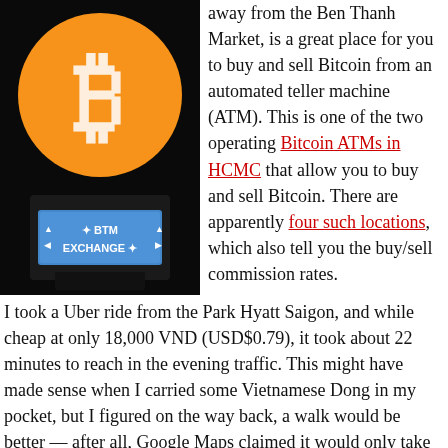[Figure (photo): Bitcoin ATM machine with orange Bitcoin logo on top and a blue 'BTM EXCHANGE' display screen, photographed in a dark setting.]
away from the Ben Thanh Market, is a great place for you to buy and sell Bitcoin from an automated teller machine (ATM). This is one of the two operating Bitcoin ATMs in HCMC that allow you to buy and sell Bitcoin. There are apparently four such locations, which also tell you the buy/sell commission rates.
I took a Uber ride from the Park Hyatt Saigon, and while cheap at only 18,000 VND (USD$0.79), it took about 22 minutes to reach in the evening traffic. This might have made sense when I carried some Vietnamese Dong in my pocket, but I figured on the way back, a walk would be better — after all, Google Maps claimed it would only take 18 minutes, and it was definitely about there.